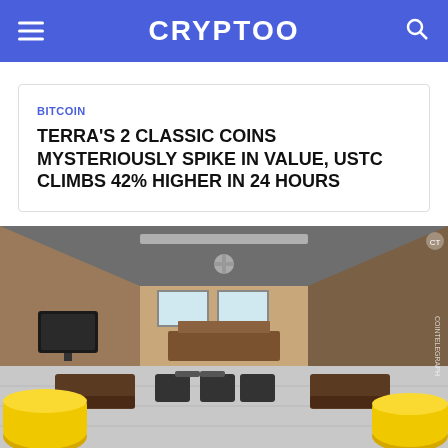CRYPTOO
BITCOIN
TERRA'S 2 CLASSIC COINS MYSTERIOUSLY SPIKE IN VALUE, USTC CLIMBS 42% HIGHER IN 24 HOURS
[Figure (illustration): Illustration of a courtroom interior with wooden benches, chairs, a judge's bench at the far end, large windows, and yellow coin-like figures in the foreground — Cointelegraph branded image.]